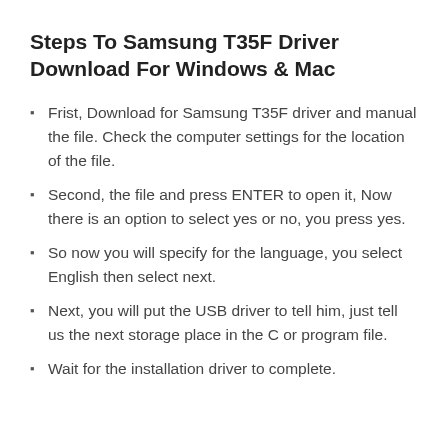Steps To Samsung T35F Driver Download For Windows & Mac
Frist, Download for Samsung T35F driver and manual the file. Check the computer settings for the location of the file.
Second, the file and press ENTER to open it, Now there is an option to select yes or no, you press yes.
So now you will specify for the language, you select English then select next.
Next, you will put the USB driver to tell him, just tell us the next storage place in the C or program file.
Wait for the installation driver to complete.